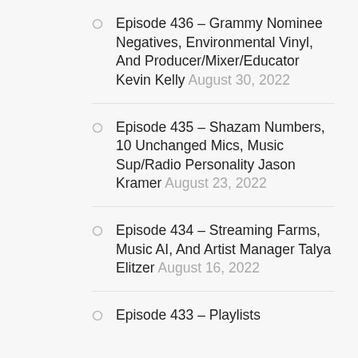Episode 436 – Grammy Nominee Negatives, Environmental Vinyl, And Producer/Mixer/Educator Kevin Kelly August 30, 2022
Episode 435 – Shazam Numbers, 10 Unchanged Mics, Music Sup/Radio Personality Jason Kramer August 23, 2022
Episode 434 – Streaming Farms, Music AI, And Artist Manager Talya Elitzer August 16, 2022
Episode 433 – Playlists